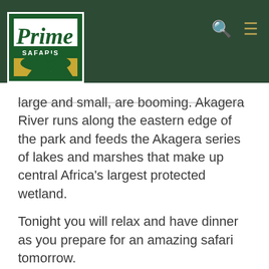Prime Safaris logo with navigation icons
large and small, are booming. Akagera River runs along the eastern edge of the park and feeds the Akagera series of lakes and marshes that make up central Africa's largest protected wetland.
Tonight you will relax and have dinner as you prepare for an amazing safari tomorrow.
The highlight of the Day: – Driving through the amazing countryside landscapes